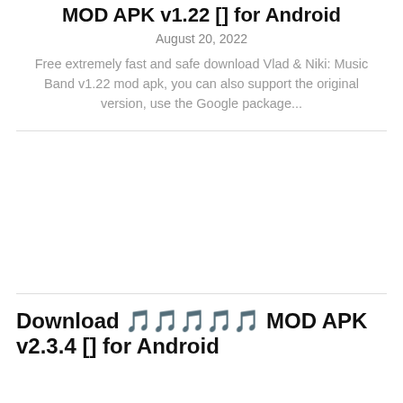MOD APK v1.22 [] for Android
August 20, 2022
Free extremely fast and safe download Vlad & Niki: Music Band v1.22 mod apk, you can also support the original version, use the Google package...
[Figure (other): Advertisement or blank content area between two article sections]
Download 🎵🎵🎵🎵🎵 MOD APK v2.3.4 [] for Android